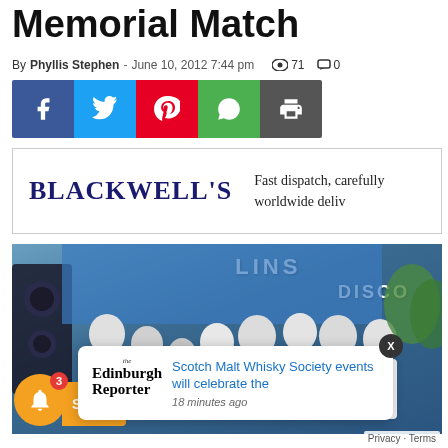Memorial Match
By Phyllis Stephen - June 10, 2012 7:44 pm  71  0
[Figure (infographic): Social sharing buttons: Facebook (blue), Twitter (light blue), Pinterest (red), WhatsApp (green), Print (dark grey)]
[Figure (infographic): Blackwell's advertisement banner: 'BLACKWELL'S' logo in navy blue serif font, text 'Fast dispatch, carefully worldwide deliv...']
[Figure (photo): Group photo of people dressed in white standing in front of a blue sign reading 'LINS DISCO']
[Figure (screenshot): Notification popup: Edinburgh Reporter logo with headline 'Scotch Malt Whisky Society events will celebrate the' and '18 minutes ago'. Orange notification bell with badge '3' and 'Suppo...' bar.]
Privacy · Terms